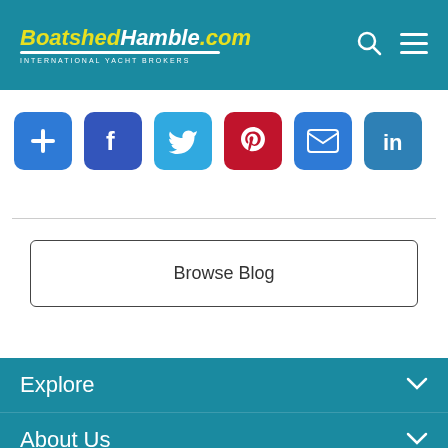BoatshedHamble.com INTERNATIONAL YACHT BROKERS
[Figure (infographic): Social sharing icons row: Add (+), Facebook, Twitter, Pinterest, Email, LinkedIn]
Browse Blog
Explore
About Us
Articles